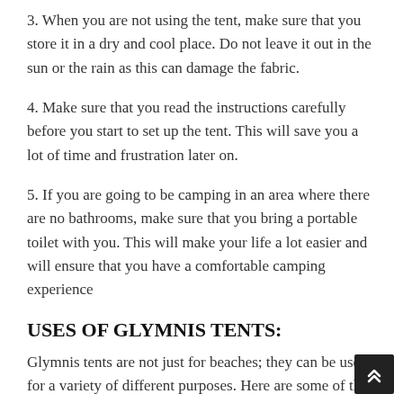3. When you are not using the tent, make sure that you store it in a dry and cool place. Do not leave it out in the sun or the rain as this can damage the fabric.
4. Make sure that you read the instructions carefully before you start to set up the tent. This will save you a lot of time and frustration later on.
5. If you are going to be camping in an area where there are no bathrooms, make sure that you bring a portable toilet with you. This will make your life a lot easier and will ensure that you have a comfortable camping experience
USES OF GLYMNIS TENTS:
Glymnis tents are not just for beaches; they can be used for a variety of different purposes. Here are some of the most popular uses for these tents: